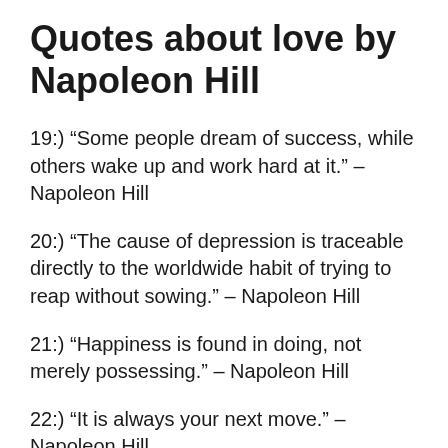Quotes about love by Napoleon Hill
19:) “Some people dream of success, while others wake up and work hard at it.” – Napoleon Hill
20:) “The cause of depression is traceable directly to the worldwide habit of trying to reap without sowing.” – Napoleon Hill
21:) “Happiness is found in doing, not merely possessing.” – Napoleon Hill
22:) “It is always your next move.” – Napoleon Hill
23:) “Deliberately seek the company of